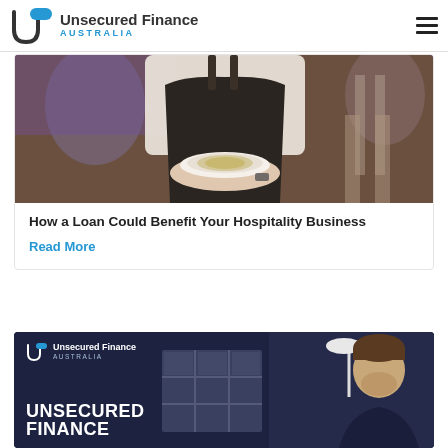Unsecured Finance Australia
[Figure (photo): Person wearing dark apron holding a plate with food in a cafe/restaurant setting]
How a Loan Could Benefit Your Hospitality Business
Read More
[Figure (photo): Unsecured Finance Australia branded card with dark navy background, window grid graphic, and person smiling. Text reads UNSECURED FINANCE in white bold letters.]